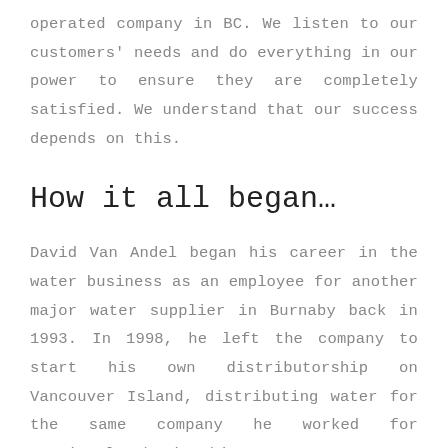operated company in BC. We listen to our customers' needs and do everything in our power to ensure they are completely satisfied. We understand that our success depends on this.
How it all began…
David Van Andel began his career in the water business as an employee for another major water supplier in Burnaby back in 1993. In 1998, he left the company to start his own distributorship on Vancouver Island, distributing water for the same company he worked for previously, basing his